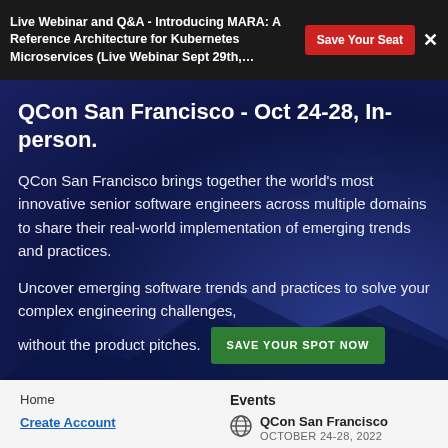Live Webinar and Q&A - Introducing MARA: A Reference Architecture for Kubernetes Microservices (Live Webinar Sept 29th,…
QCon San Francisco - Oct 24-28, In-person.
QCon San Francisco brings together the world's most innovative senior software engineers across multiple domains to share their real-world implementation of emerging trends and practices.
Uncover emerging software trends and practices to solve your complex engineering challenges,
without the product pitches.
Home
Create Account
Events
QCon San Francisco
OCTOBER 24-28, 2022